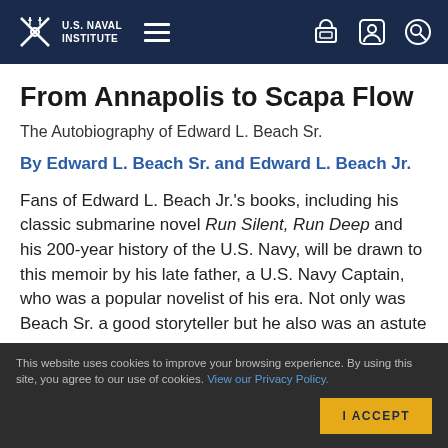U.S. Naval Institute
From Annapolis to Scapa Flow
The Autobiography of Edward L. Beach Sr.
By Edward L. Beach Sr. and Edward L. Beach Jr.
Fans of Edward L. Beach Jr.'s books, including his classic submarine novel Run Silent, Run Deep and his 200-year history of the U.S. Navy, will be drawn to this memoir by his late father, a U.S. Navy Captain, who was a popular novelist of his era. Not only was Beach Sr. a good storyteller but he also was an astute …
This website uses cookies to improve your browsing experience. By using this site, you agree to our use of cookies. View our Privacy Policy.